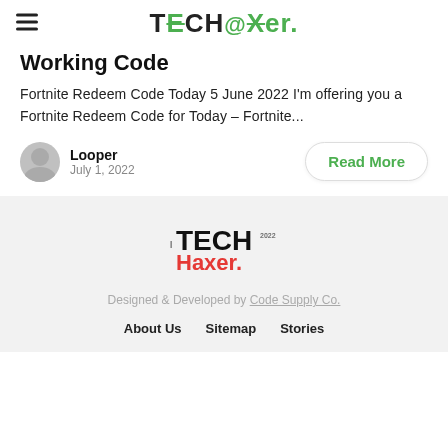TECHaXer.
Working Code
Fortnite Redeem Code Today 5 June 2022 I'm offering you a Fortnite Redeem Code for Today – Fortnite...
Looper
July 1, 2022
Read More
[Figure (logo): TechHaxer footer logo with TECH in black bold and Haxer in red bold with a dot]
Designed & Developed by Code Supply Co.
About Us   Sitemap   Stories